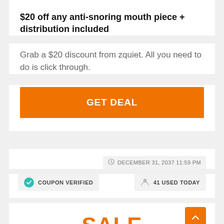$20 off any anti-snoring mouth piece + distribution included
Grab a $20 discount from zquiet. All you need to do is click through.
GET DEAL
DECEMBER 31, 2037 11:59 PM
COUPON VERIFIED
41 USED TODAY
SALE